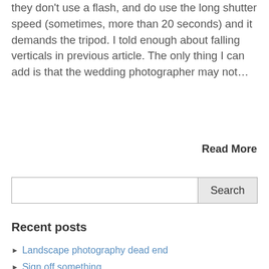they don't use a flash, and do use the long shutter speed (sometimes, more than 20 seconds) and it demands the tripod. I told enough about falling verticals in previous article. The only thing I can add is that the wedding photographer may not...
Read More
[Figure (other): Search input field with Search button]
Recent posts
Landscape photography dead end
Sign off something...